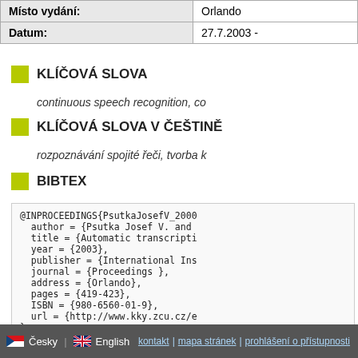|  |  |
| --- | --- |
| Místo vydání: | Orlando |
| Datum: | 27.7.2003 - |
KLÍČOVÁ SLOVA
continuous speech recognition, co
KLÍČOVÁ SLOVA V ČEŠTINĚ
rozpoznávání spojité řeči, tvorba k
BIBTEX
@INPROCEEDINGS{PsutkaJosefV_2000
  author = {Psutka Josef V. and
  title = {Automatic transcripti
  year = {2003},
  publisher = {International Ins
  journal = {Proceedings },
  address = {Orlando},
  pages = {419-423},
  ISBN = {980-6560-01-9},
  url = {http://www.kky.zcu.cz/e
}
Česky | English | kontakt | mapa stránek | prohlášení o přístupnosti